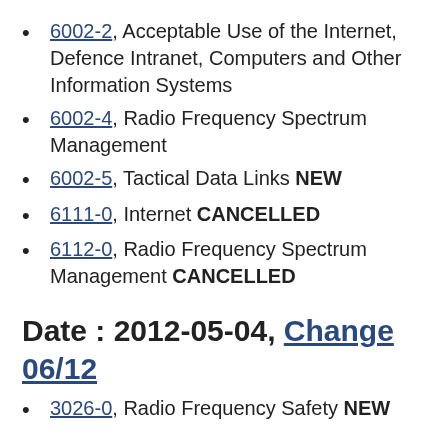6002-2, Acceptable Use of the Internet, Defence Intranet, Computers and Other Information Systems
6002-4, Radio Frequency Spectrum Management
6002-5, Tactical Data Links NEW
6111-0, Internet CANCELLED
6112-0, Radio Frequency Spectrum Management CANCELLED
Date : 2012-05-04, Change 06/12
3026-0, Radio Frequency Safety NEW